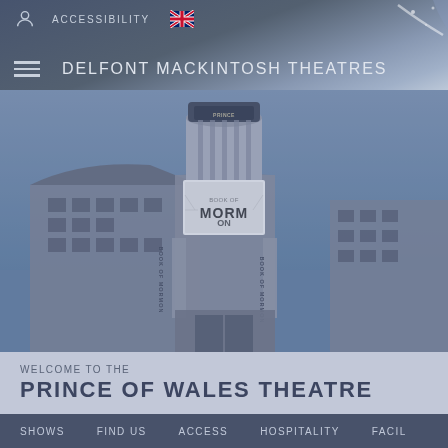ACCESSIBILITY  🇬🇧  DELFONT MACKINTOSH THEATRES
[Figure (photo): Exterior photograph of the Prince of Wales Theatre building showing its distinctive tower with 'PRINCE OF WALES' lettering and a large 'Book of Mormon' billboard/banner on the cylindrical tower and sides of the building. The building features ornate Victorian/Edwardian architecture with blue sky background.]
WELCOME TO THE
PRINCE OF WALES THEATRE
SHOWS    FIND US    ACCESS    HOSPITALITY    FACIL